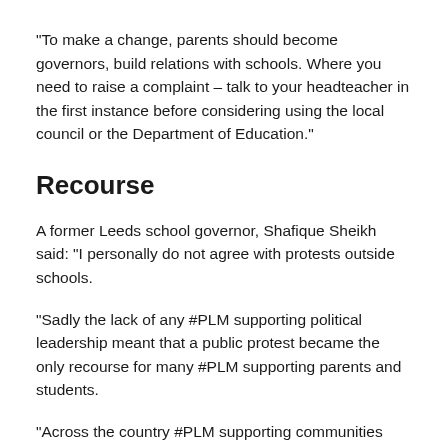“To make a change, parents should become governors, build relations with schools. Where you need to raise a complaint – talk to your headteacher in the first instance before considering using the local council or the Department of Education.”
Recourse
A former Leeds school governor, Shafique Sheikh said: “I personally do not agree with protests outside schools.
“Sadly the lack of any #PLM supporting political leadership meant that a public protest became the only recourse for many #PLM supporting parents and students.
“Across the country #PLM supporting communities